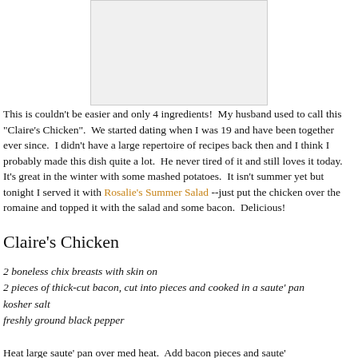[Figure (photo): Photo of the dish (Claire's Chicken) shown at the top of the page]
This is couldn't be easier and only 4 ingredients!  My husband used to call this "Claire's Chicken".  We started dating when I was 19 and have been together ever since.  I didn't have a large repertoire of recipes back then and I think I probably made this dish quite a lot.  He never tired of it and still loves it today.  It's great in the winter with some mashed potatoes.  It isn't summer yet but tonight I served it with Rosalie's Summer Salad --just put the chicken over the romaine and topped it with the salad and some bacon.  Delicious!
Claire's Chicken
2 boneless chix breasts with skin on
2 pieces of thick-cut bacon, cut into pieces and cooked in a saute' pan
kosher salt
freshly ground black pepper
Heat large saute' pan over med heat.  Add bacon pieces and saute'